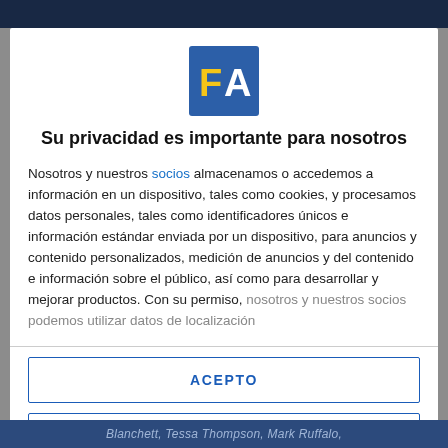[Figure (logo): FA logo — blue square background with yellow F and white A letters]
Su privacidad es importante para nosotros
Nosotros y nuestros socios almacenamos o accedemos a información en un dispositivo, tales como cookies, y procesamos datos personales, tales como identificadores únicos e información estándar enviada por un dispositivo, para anuncios y contenido personalizados, medición de anuncios y del contenido e información sobre el público, así como para desarrollar y mejorar productos. Con su permiso, nosotros y nuestros socios podemos utilizar datos de localización
ACEPTO
MÁS OPCIONES
Blanchett, Tessa Thompson, Mark Ruffalo,